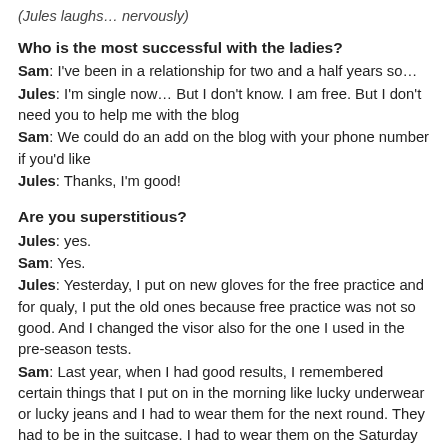(Jules laughs… nervously)
Who is the most successful with the ladies?
Sam: I've been in a relationship for two and a half years so…
Jules: I'm single now… But I don't know. I am free. But I don't need you to help me with the blog
Sam: We could do an add on the blog with your phone number if you'd like
Jules: Thanks, I'm good!
Are you superstitious?
Jules: yes.
Sam: Yes.
Jules: Yesterday, I put on new gloves for the free practice and for qualy, I put the old ones because free practice was not so good. And I changed the visor also for the one I used in the pre-season tests.
Sam: Last year, when I had good results, I remembered certain things that I put on in the morning like lucky underwear or lucky jeans and I had to wear them for the next round. They had to be in the suitcase. I had to wear them on the Saturday or on the Sunday. And when they didn't work, I would be like "I'm never wearing them again". I always get